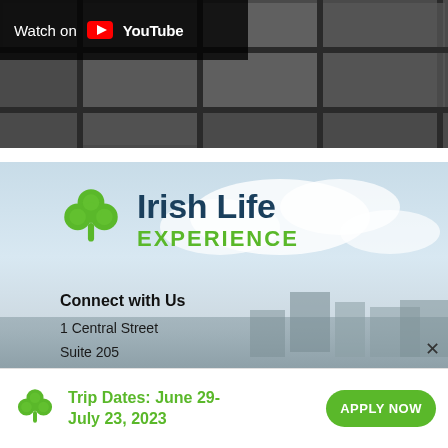[Figure (screenshot): YouTube video thumbnail showing dark window/grid background with 'Watch on YouTube' overlay badge in upper left]
[Figure (logo): Irish Life Experience logo with green shamrock icon and dark blue 'Irish Life' text above green 'EXPERIENCE' text, set against a scenic Irish landscape background]
Connect with Us
1 Central Street
Suite 205
Trip Dates: June 29-July 23, 2023
APPLY NOW